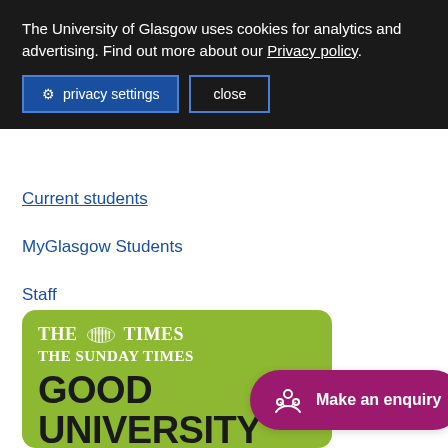The University of Glasgow uses cookies for analytics and advertising. Find out more about our Privacy policy.
privacy settings
close
Current students
MyGlasgow Students
Staff
MyGlasgow Staff
[Figure (logo): The Times / The Sunday Times Good University badge on a green background with text GOOD UNIVERSITY]
Make an enquiry